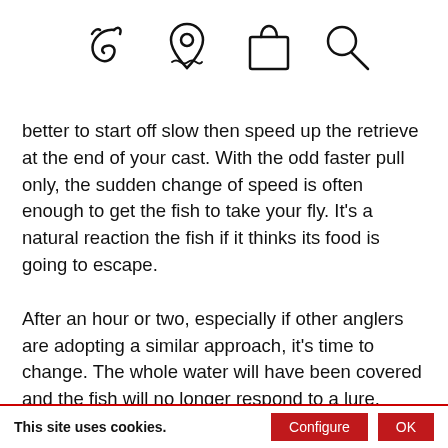[Figure (illustration): Four icons in a row: a fishing lure/hook, a map/location pin with waves, a shopping bag, and a magnifying glass/search icon.]
better to start off slow then speed up the retrieve at the end of your cast. With the odd faster pull only, the sudden change of speed is often enough to get the fish to take your fly. It's a natural reaction the fish if it thinks its food is going to escape.

After an hour or two, especially if other anglers are adopting a similar approach, it's time to change. The whole water will have been covered and the fish will no longer respond to a lure. Distinct changes are needed!
This site uses cookies.  [Configure] [OK]